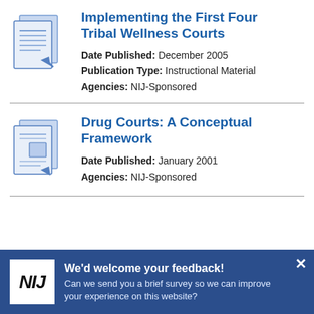Implementing the First Four Tribal Wellness Courts
Date Published: December 2005
Publication Type: Instructional Material
Agencies: NIJ-Sponsored
Drug Courts: A Conceptual Framework
Date Published: January 2001
Agencies: NIJ-Sponsored
We'd welcome your feedback! Can we send you a brief survey so we can improve your experience on this website?